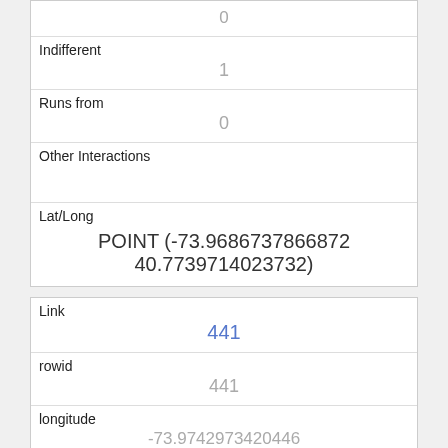| 0 |
| Indifferent | 1 |
| Runs from | 0 |
| Other Interactions |  |
| Lat/Long | POINT (-73.9686737866872 40.7739714023732) |
| Link | 441 |
| rowid | 441 |
| longitude | -73.9742973420446 |
| latitude | 40.7691801644292 |
| Unique Squirrel ID | 5F-AM-1007-04 |
| Hectare |  |